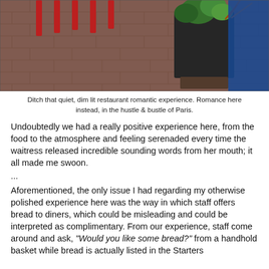[Figure (photo): Outdoor restaurant or cafe patio area with red chairs/stools, brick/paved flooring, a large dark planter with green plants, and a blue-painted wall in the background.]
Ditch that quiet, dim lit restaurant romantic experience. Romance here instead, in the hustle & bustle of Paris.
Undoubtedly we had a really positive experience here, from the food to the atmosphere and feeling serenaded every time the waitress released incredible sounding words from her mouth; it all made me swoon.
...
Aforementioned, the only issue I had regarding my otherwise polished experience here was the way in which staff offers bread to diners, which could be misleading and could be interpreted as complimentary. From our experience, staff come around and ask, "Would you like some bread?" from a handhold basket while bread is actually listed in the Starters